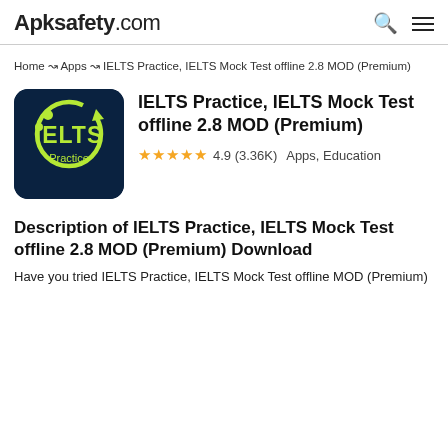Apksafety.com
Home ↝ Apps ↝ IELTS Practice, IELTS Mock Test offline 2.8 MOD (Premium)
[Figure (logo): IELTS Practice app icon: dark navy blue square with rounded corners, yellow-green circular arrow and IELTS text, 'Practice' subtitle]
IELTS Practice, IELTS Mock Test offline 2.8 MOD (Premium)
★★★★★ 4.9 (3.36K)  Apps, Education
Description of IELTS Practice, IELTS Mock Test offline 2.8 MOD (Premium) Download
Have you tried IELTS Practice, IELTS Mock Test offline MOD (Premium)